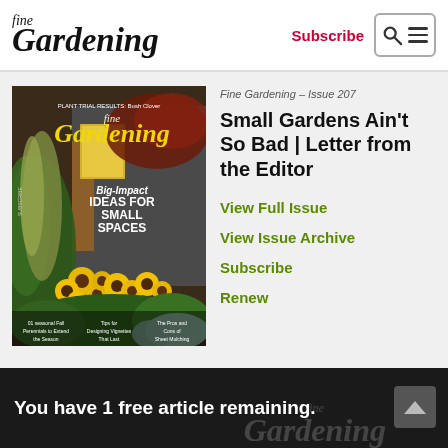fine Gardening | Subscribe
[Figure (photo): Fine Gardening Issue 207 magazine cover showing a garden with yellow black-eyed Susan flowers and text 'Big-Impact IDEAS FOR SMALL SPACES']
Fine Gardening – Issue 207
Small Gardens Ain't So Bad | Letter from the Editor
View Full Issue
View Issue Archive
Subscribe
Renew
You have 1 free article remaining.